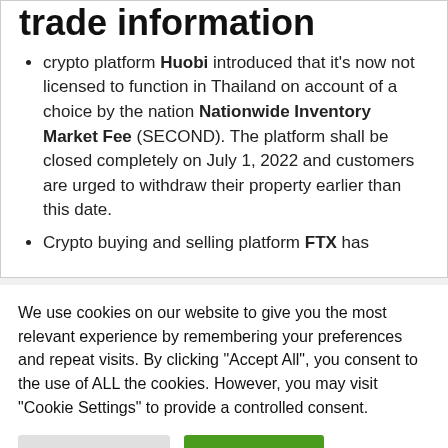trade information
crypto platform Huobi introduced that it's now not licensed to function in Thailand on account of a choice by the nation Nationwide Inventory Market Fee (SECOND). The platform shall be closed completely on July 1, 2022 and customers are urged to withdraw their property earlier than this date.
Crypto buying and selling platform FTX has
We use cookies on our website to give you the most relevant experience by remembering your preferences and repeat visits. By clicking “Accept All”, you consent to the use of ALL the cookies. However, you may visit "Cookie Settings" to provide a controlled consent.
Cookie Settings    Accept All